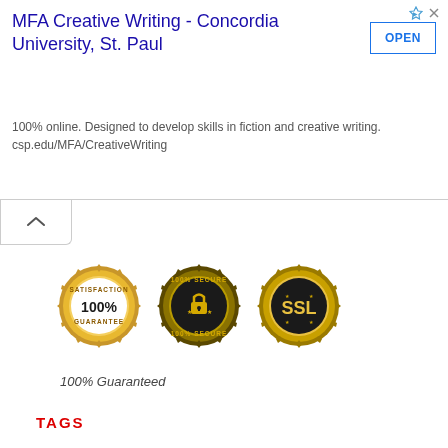[Figure (other): Advertisement banner for MFA Creative Writing at Concordia University, St. Paul with OPEN button and small ad icons]
MFA Creative Writing - Concordia University, St. Paul
100% online. Designed to develop skills in fiction and creative writing. csp.edu/MFA/CreativeWriting
[Figure (other): Three gold badge icons: Satisfaction 100% Guarantee, 100% Secure, and SSL security badge]
100% Guaranteed
TAGS